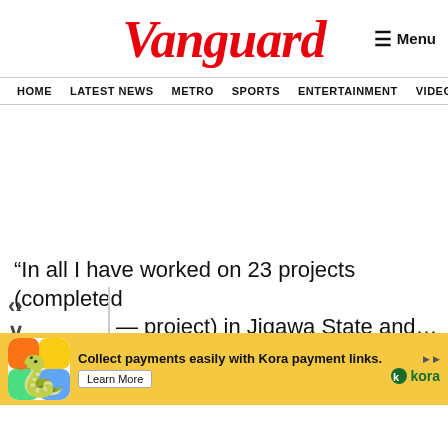Vanguard
Menu
HOME  LATEST NEWS  METRO  SPORTS  ENTERTAINMENT  VIDEOS
“In all I have worked on 23 projects (completed
... project) in Jigawa State and contributed to
[Figure (infographic): Bottom banner advertisement for Kora payment links on a yellow background, with colorful snake-game style icon, headline 'Collect payments easily with Kora payment links.', a Learn More button, and the Kora logo.]